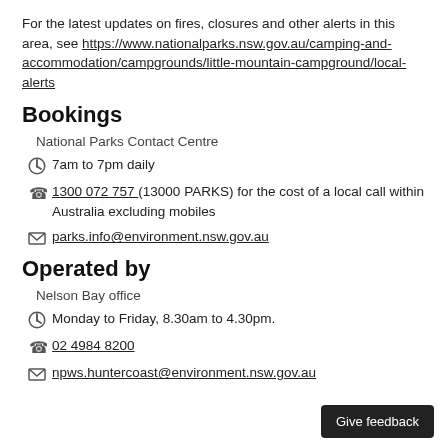For the latest updates on fires, closures and other alerts in this area, see https://www.nationalparks.nsw.gov.au/camping-and-accommodation/campgrounds/little-mountain-campground/local-alerts
Bookings
National Parks Contact Centre
7am to 7pm daily
1300 072 757 (13000 PARKS) for the cost of a local call within Australia excluding mobiles
parks.info@environment.nsw.gov.au
Operated by
Nelson Bay office
Monday to Friday, 8.30am to 4.30pm.
02 4984 8200
npws.huntercoast@environment.nsw.gov.au